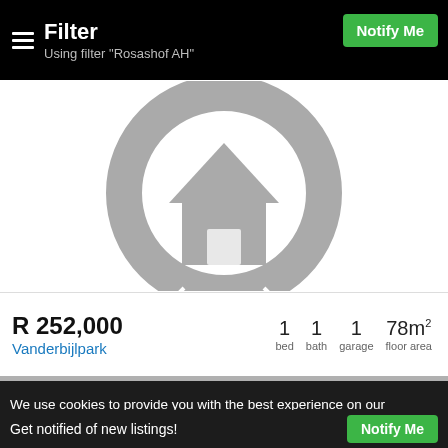Filter
Using filter "Rosashof AH"
[Figure (illustration): Placeholder house icon: a grey house silhouette centered inside a large grey circle ring on a white background]
R 252,000
Vanderbijlpark
1 bed  1 bath  1 garage  78m² floor area
We use cookies to provide you with the best experience on our website. By continuing to use our
Get notified of new listings!